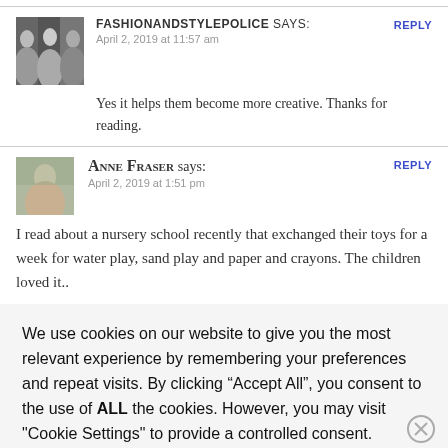FASHIONANDSTYLEPOLICE says: April 2, 2019 at 11:57 am
REPLY
Yes it helps them become more creative. Thanks for reading.
ANNE FRASER says: April 2, 2019 at 1:51 pm
REPLY
I read about a nursery school recently that exchanged their toys for a week for water play, sand play and paper and crayons. The children loved it..
We use cookies on our website to give you the most relevant experience by remembering your preferences and repeat visits. By clicking “Accept All”, you consent to the use of ALL the cookies. However, you may visit "Cookie Settings" to provide a controlled consent.
Advertisements
REPORT THIS AD